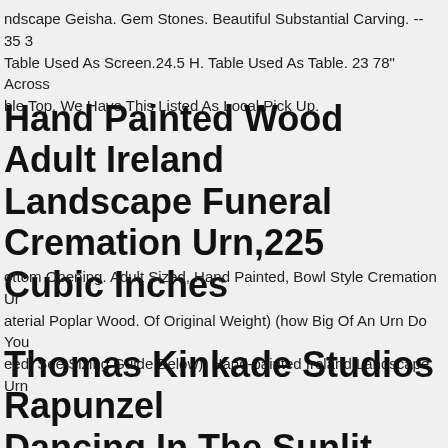ndscape Geisha. Gem Stones. Beautiful Substantial Carving. -- 35 3 Table Used As Screen.24.5 H. Table Used As Table. 23 78" Across ble Top. We Have This Listed As Local Pick Up.
Hand Painted Wood Adult Ireland Landscape Funeral Cremation Urn,225 Cubic Inches
ottom Opening. Adult Sized, Hand Painted, Bowl Style Cremation Ur aterial Poplar Wood. Of Original Weight) (how Big Of An Urn Do You eed. See Sizing Guide Below). Hand-painted Ireland Landscape Urn
Thomas Kinkade Studios Rapunzel Dancing In The Sunlit Courtyard S/n Framed